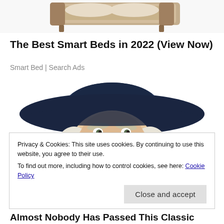[Figure (photo): Partial view of a smart bed / mattress product photo at the top of an advertisement, cropped at top]
The Best Smart Beds in 2022 (View Now)
Smart Bed | Search Ads
[Figure (illustration): Illustrated mascot character resembling the Quaker Oats man — an older man with white hair wearing a large dark blue wide-brimmed hat, smiling warmly]
Privacy & Cookies: This site uses cookies. By continuing to use this website, you agree to their use.
To find out more, including how to control cookies, see here: Cookie Policy
Close and accept
Almost Nobody Has Passed This Classic